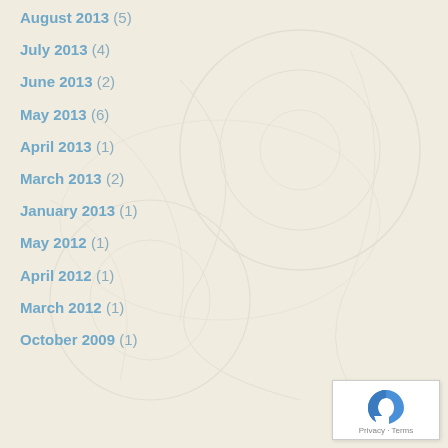August 2013 (5)
July 2013 (4)
June 2013 (2)
May 2013 (6)
April 2013 (1)
March 2013 (2)
January 2013 (1)
May 2012 (1)
April 2012 (1)
March 2012 (1)
October 2009 (1)
[Figure (logo): Google reCAPTCHA widget with Privacy and Terms links]